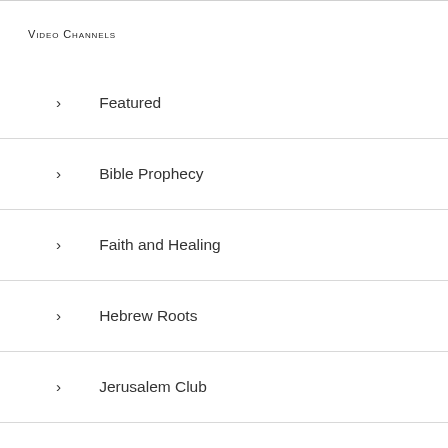Video Channels
Featured
Bible Prophecy
Faith and Healing
Hebrew Roots
Jerusalem Club
Prayer and Intercession
Spiritual Growth
Trending